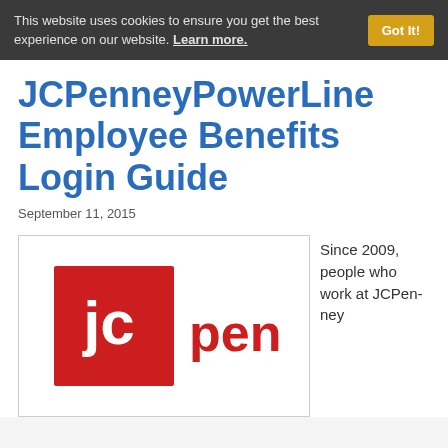This website uses cookies to ensure you get the best experience on our website. Learn more. Got It!
JCPenneyPowerLine Employee Benefits Login Guide
September 11, 2015
[Figure (logo): JCPenney logo: red square with white lowercase 'jc' text, followed by red 'penney' text]
Since 2009, people who work at JCPenney